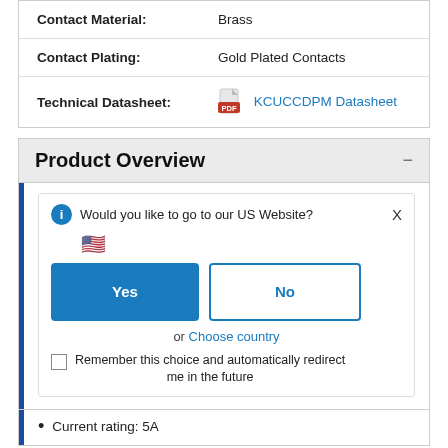| Property | Value |
| --- | --- |
| Contact Material: | Brass |
| Contact Plating: | Gold Plated Contacts |
| Technical Datasheet: | KCUCCDPM  Datasheet |
Product Overview
Would you like to go to our US Website?
Yes
No
or  Choose country
Remember this choice and automatically redirect me in the future
Current rating: 5A